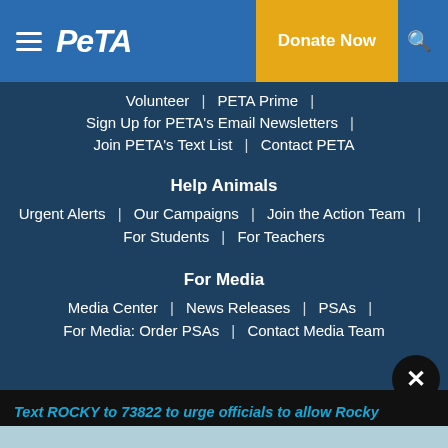PETA — Donate Now
Volunteer | PETA Prime |
Sign Up for PETA's Email Newsletters |
Join PETA's Text List | Contact PETA
Help Animals
Urgent Alerts | Our Campaigns | Join the Action Team |
For Students | For Teachers
For Media
Media Center | News Releases | PSAs |
For Media: Order PSAs | Contact Media Team
Text ROCKY to 73822 to urge officials to allow Rocky a lone coyote, who is pacing in apparent distress in a tiny cage, to move to an accredited sanctuary.